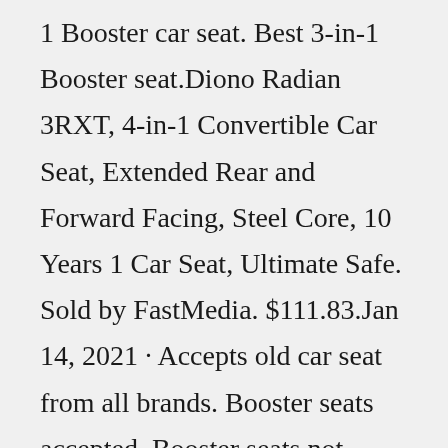1 Booster car seat. Best 3-in-1 Booster seat.Diono Radian 3RXT, 4-in-1 Convertible Car Seat, Extended Rear and Forward Facing, Steel Core, 10 Years 1 Car Seat, Ultimate Safe. Sold by FastMedia. $111.83.Jan 14, 2021 · Accepts old car seat from all brands. Booster seats accepted. Booster seats not accepted. Receive a coupon for 20 percent off a new car seat, stroller, or select baby gear. $30 Walmart gift card included, limit 2 gift cards per